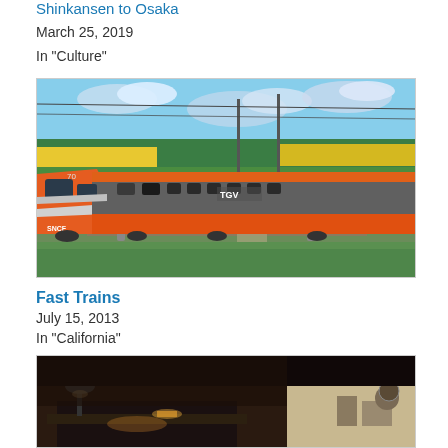Shinkansen to Osaka
March 25, 2019
In "Culture"
[Figure (photo): Orange and silver TGV high-speed train (SNCF) traveling through green countryside with yellow rapeseed fields in background]
Fast Trains
July 15, 2013
In "California"
[Figure (photo): Interior of a dark hotel or train room/cabin with desk lamp and minimal furnishings]